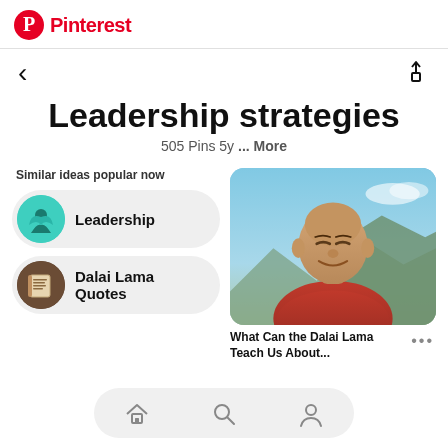Pinterest
< [back] [share]
Leadership strategies
505 Pins 5y ... More
Similar ideas popular now
Leadership
Dalai Lama Quotes
[Figure (photo): Portrait photo of the Dalai Lama smiling, wearing red and yellow robes, with mountains and sky in the background]
What Can the Dalai Lama Teach Us About...